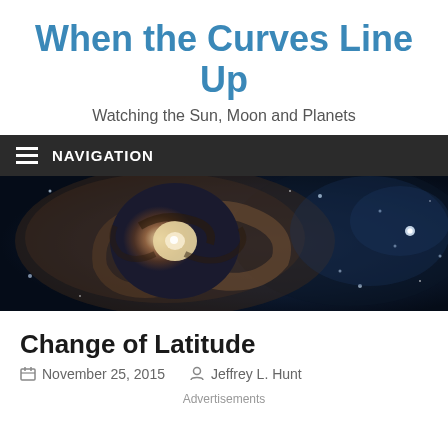When the Curves Line Up
Watching the Sun, Moon and Planets
NAVIGATION
[Figure (photo): Hubble Space Telescope image of a spiral galaxy, showing a bright galactic core with swirling arms and star clusters against a dark blue background]
Change of Latitude
November 25, 2015   Jeffrey L. Hunt
Advertisements